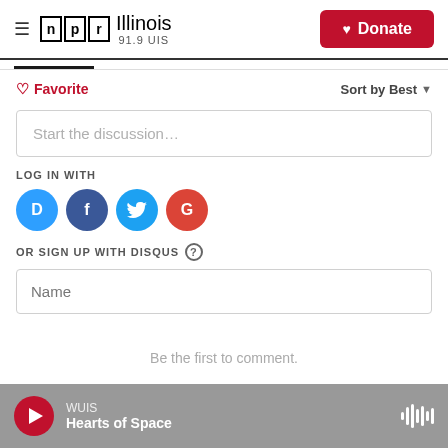[Figure (logo): NPR Illinois 91.9 UIS logo with hamburger menu and Donate button]
♡ Favorite
Sort by Best ▾
Start the discussion…
LOG IN WITH
[Figure (infographic): Social login icons: Disqus (D), Facebook (F), Twitter bird, Google (G)]
OR SIGN UP WITH DISQUS ?
Name
Be the first to comment.
WUIS
Hearts of Space